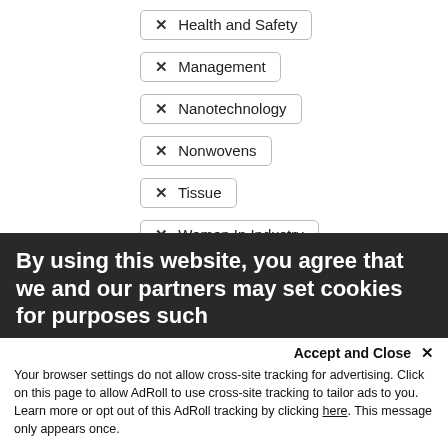✕ Health and Safety
✕ Management
✕ Nanotechnology
✕ Nonwovens
✕ Tissue
✕ Women In Industry
✕ Management & operations
✕ Testing & testing practices
✕ Conferences
Clear Filters
Industry
Topics
By using this website, you agree that we and our partners may set cookies for purposes such
Accept and Close ✕
Your browser settings do not allow cross-site tracking for advertising. Click on this page to allow AdRoll to use cross-site tracking to tailor ads to you. Learn more or opt out of this AdRoll tracking by clicking here. This message only appears once.